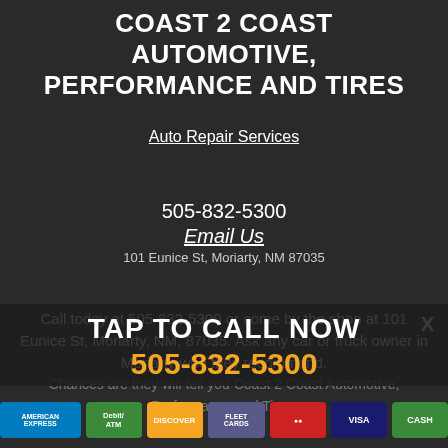COAST 2 COAST AUTOMOTIVE, PERFORMANCE AND TIRES
Auto Repair Services
505-832-5300
Email Us
101 Eunice St, Moriarty, NM 87035
Call today at 505-832-5300 or come by the shop at 101 Eunice St, Moriarty, NM, 87035. Ask any car or truck owner in Moriarty who they recommend. Chances are they will tell you Coast 2 Coast Automotive, Performance and Tires.
TAP TO CALL NOW
505-832-5300
[Figure (other): Payment method icons: American Express, Debit/ATM, Discover, Fleet Cards, Mastercard, Visa, Cash]